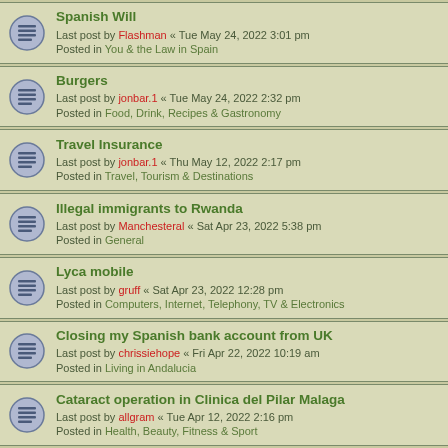Spanish Will
Last post by Flashman « Tue May 24, 2022 3:01 pm
Posted in You & the Law in Spain
Burgers
Last post by jonbar.1 « Tue May 24, 2022 2:32 pm
Posted in Food, Drink, Recipes & Gastronomy
Travel Insurance
Last post by jonbar.1 « Thu May 12, 2022 2:17 pm
Posted in Travel, Tourism & Destinations
Illegal immigrants to Rwanda
Last post by Manchesteral « Sat Apr 23, 2022 5:38 pm
Posted in General
Lyca mobile
Last post by gruff « Sat Apr 23, 2022 12:28 pm
Posted in Computers, Internet, Telephony, TV & Electronics
Closing my Spanish bank account from UK
Last post by chrissiehope « Fri Apr 22, 2022 10:19 am
Posted in Living in Andalucia
Cataract operation in Clinica del Pilar Malaga
Last post by allgram « Tue Apr 12, 2022 2:16 pm
Posted in Health, Beauty, Fitness & Sport